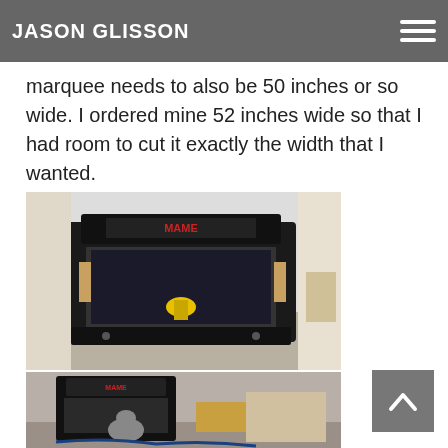JASON GLISSON
measurements on how wide your control panel is. If your control panel is 50 inches wide, then your marquee needs to also be 50 inches or so wide. I ordered mine 52 inches wide so that I had room to cut it exactly the width that I wanted.
[Figure (photo): Arcade cabinet tabletop unit with marquee reading MAME, screen tilted open, yellow drill visible inside, sitting on a workbench in a workshop]
[Figure (photo): Arcade cabinet upright unit with marquee, shown in a cluttered workshop environment]